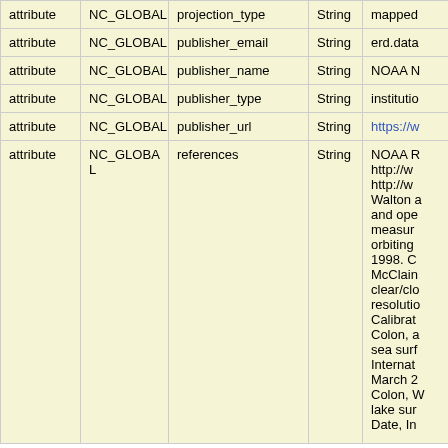|  |  |  |  |  |
| --- | --- | --- | --- | --- |
| attribute | NC_GLOBAL | projection_type | String | mapped... |
| attribute | NC_GLOBAL | publisher_email | String | erd.data... |
| attribute | NC_GLOBAL | publisher_name | String | NOAA N... |
| attribute | NC_GLOBAL | publisher_type | String | institutio... |
| attribute | NC_GLOBAL | publisher_url | String | https://w... |
| attribute | NC_GLOBAL | references | String | NOAA R http://w http://w Walton a and ope measur orbiting 1998. C McClain clear/cl resolutio Calibrat Colon, a sea surf Internat March 2 Colon, W lake sur Date, In... |